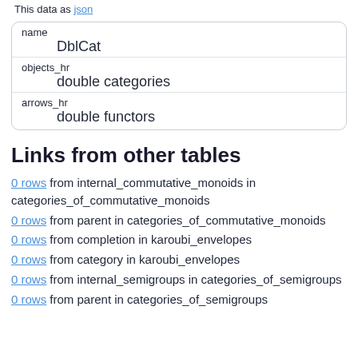This data as json
| name | objects_hr | arrows_hr |
| --- | --- | --- |
| DblCat |
| double categories |
| double functors |
Links from other tables
0 rows from internal_commutative_monoids in categories_of_commutative_monoids
0 rows from parent in categories_of_commutative_monoids
0 rows from completion in karoubi_envelopes
0 rows from category in karoubi_envelopes
0 rows from internal_semigroups in categories_of_semigroups
0 rows from parent in categories_of_semigroups